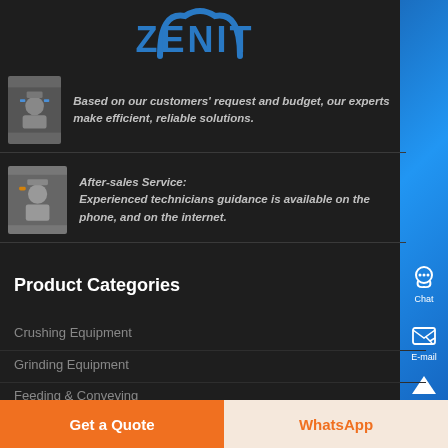[Figure (logo): Zenit company logo with blue arch/hat symbol and ZENIT text in blue]
Based on our customers' request and budget, our experts make efficient, reliable solutions.
After-sales Service: Experienced technicians guidance is available on the phone, and on the internet.
Product Categories
Crushing Equipment
Grinding Equipment
Feeding & Conveying
Get a Quote
WhatsApp